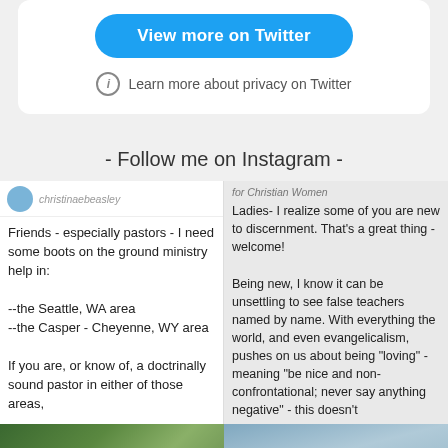[Figure (screenshot): Twitter embed card with 'View more on Twitter' blue button and 'Learn more about privacy on Twitter' link with info icon]
- Follow me on Instagram -
[Figure (screenshot): Instagram post left column: avatar and handle at top, text about needing boots on the ground ministry help in Seattle WA and Casper-Cheyenne WY areas, and asking about doctrinally sound pastors]
[Figure (screenshot): Instagram post right column: text for Christian women about discernment, being new to discernment and about false teachers named by name]
[Figure (photo): Bottom left outdoor green nature photo]
[Figure (photo): Bottom right outdoor photo]